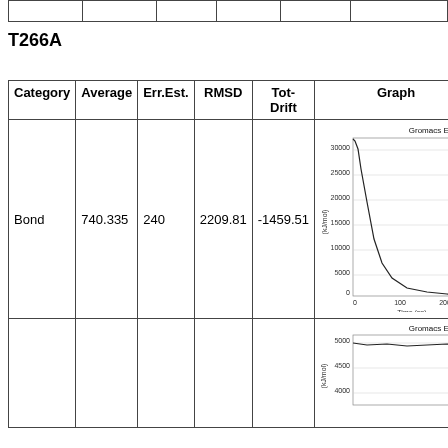|  |  |  |  |  |  |
T266A
| Category | Average | Err.Est. | RMSD | Tot-Drift | Graph |
| --- | --- | --- | --- | --- | --- |
| Bond | 740.335 | 240 | 2209.81 | -1459.51 | [Gromacs Energies chart] |
|  |  |  |  |  | [Gromacs Energies chart 2] |
[Figure (continuous-plot): Gromacs Energies line chart, y-axis from 0 to 30000 (kJ/mol), x-axis Time (ps) from 0 to 300+, showing a steep exponential decay curve from ~30000 to near 0.]
[Figure (continuous-plot): Gromacs Energies line chart, y-axis from ~4000 to 5000 (kJ/mol), x-axis Time (ps), showing a relatively flat or mildly varying line.]